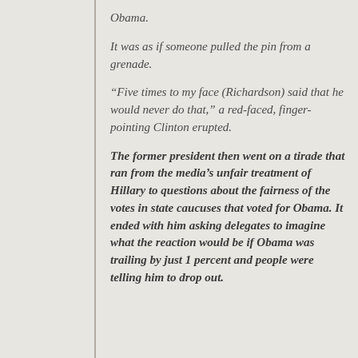Obama.
It was as if someone pulled the pin from a grenade.
“Five times to my face (Richardson) said that he would never do that,” a red-faced, finger-pointing Clinton erupted.
The former president then went on a tirade that ran from the media’s unfair treatment of Hillary to questions about the fairness of the votes in state caucuses that voted for Obama. It ended with him asking delegates to imagine what the reaction would be if Obama was trailing by just 1 percent and people were telling him to drop out.